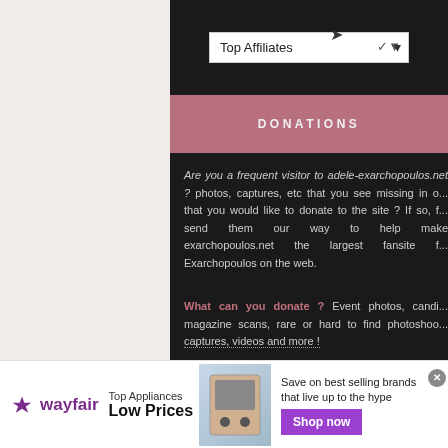[Figure (screenshot): Dropdown UI element labeled 'Top Affiliates' with chevron on dark background]
DONATIONS
Are you a frequent visitor to adele-exarchopoulos.net ? photos, captures, etc that you see missing in o... that you would like to donate to the site ? If so, f... send them our way to help make exarchopoulos.net the largest fansite f... Exarchopoulos on the web.
What can you donate ? Event photos, candi... magazine scans, rare or hard to find photoshoo... captures, videos and more !
[Figure (screenshot): Wayfair advertisement banner: Top Appliances Low Prices, Save on best selling brands that live up to the hype, Shop now button]